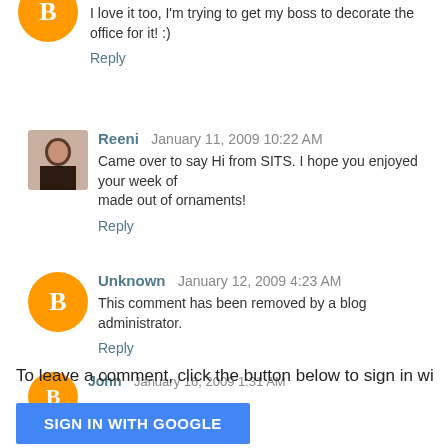I love it too, I'm trying to get my boss to decorate the office for it! :)
Reply
Reeni  January 11, 2009 10:22 AM
Came over to say Hi from SITS. I hope you enjoyed your week of fame. Love the tree made out of ornaments!
Reply
Unknown  January 12, 2009 4:23 AM
This comment has been removed by a blog administrator.
Reply
John  January 16, 2009 1:31 AM
This comment has been removed by a blog administrator.
Reply
To leave a comment, click the button below to sign in wi
SIGN IN WITH GOOGLE